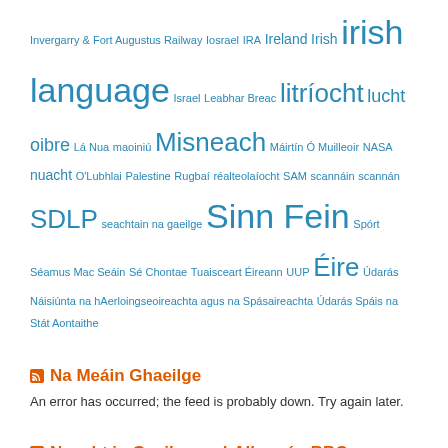Invergarry & Fort Augustus Railway Iosrael IRA Ireland Irish irish language Israel Leabhar Breac litríocht lucht oibre Lá Nua maoiniú Misneach Máirtín Ó Muilleoir NASA nuacht O'Lubhlai Palestine Rugbaí réalteolaíocht SAM scannáin scannán SDLP seachtain na gaeilge Sinn Fein Spórt Séamus Mac Seáin Sé Chontae Tuaisceart Éireann UUP Éire Údarás Náisiúnta na hAerloingseoireachta agus na Spásaireachta Údarás Spáis na Stát Aontaithe
Na Meáin Ghaeilge
An error has occurred; the feed is probably down. Try again later.
Nuacht i nGaeilge na hAlban ón BBC